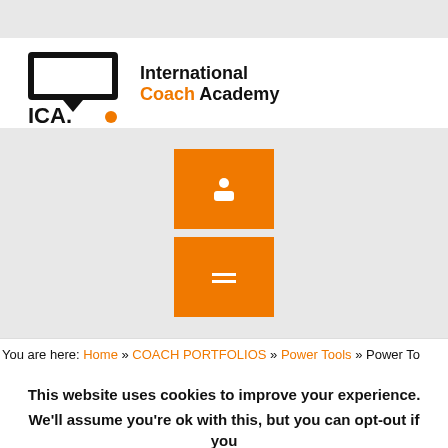[Figure (logo): International Coach Academy (ICA) logo with projector screen icon and orange dot]
[Figure (other): Two orange rectangular blocks stacked vertically with small white icons, on a gray background]
You are here: Home » COACH PORTFOLIOS » Power Tools » Power To
This website uses cookies to improve your experience. We'll assume you're ok with this, but you can opt-out if you wish.
Cookie settings  ACCEPT  Privacy & Cookies Policy